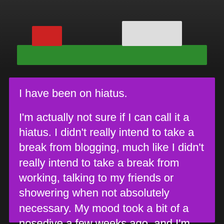[Figure (photo): Photo of a LEGO scene on a green baseplate featuring a red train/vehicle on the left and a white fence structure on the right, photographed against a dark background.]
I have been on hiatus.

I'm actually not sure if I can call it a hiatus. I didn't really intend to take a break from blogging, much like I didn't really intend to take a break from working, talking to my friends or showering when not absolutely necessary. My mood took a bit of a nosedive a few weeks ago, and I'm slowly recovering the ability to function to my usual (and still less-than-